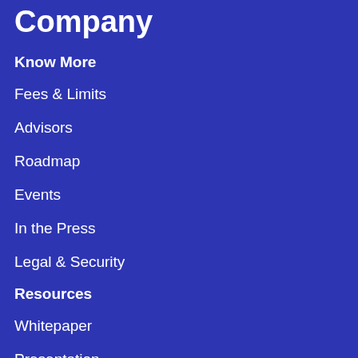Company
Know More
Fees & Limits
Advisors
Roadmap
Events
In the Press
Legal & Security
Resources
Whitepaper
Presentation
Contact Us
Bug Bounty